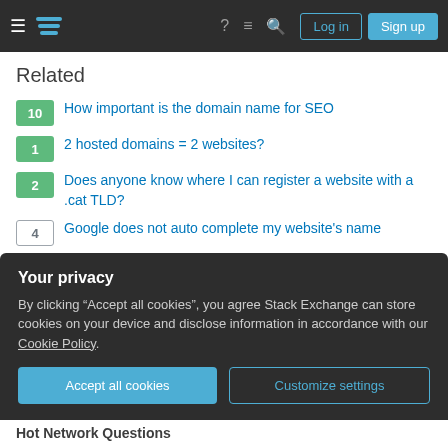Stack Exchange navigation header with hamburger menu, logo, help, chat, search icons, Log in and Sign up buttons
Related
10 | How important is the domain name for SEO
1 | 2 hosted domains = 2 websites?
2 | Does anyone know where I can register a website with a .cat TLD?
4 | Google does not auto complete my website's name
0 | Copyright infringement for domain based on common keywords
3 | Email-prevalent domain - .xyz vs .email
Your privacy
By clicking "Accept all cookies", you agree Stack Exchange can store cookies on your device and disclose information in accordance with our Cookie Policy.
[Accept all cookies] [Customize settings]
Hot Network Questions